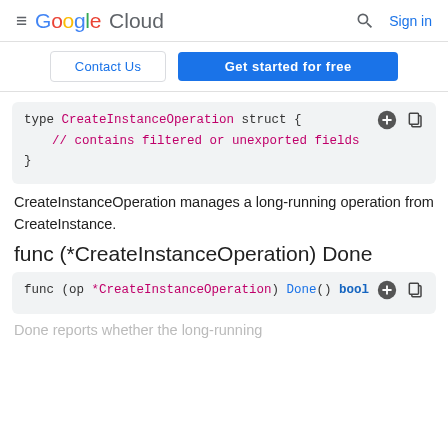Google Cloud  Search  Sign in
Contact Us  Get started for free
[Figure (screenshot): Code block showing: type CreateInstanceOperation struct { // contains filtered or unexported fields }]
CreateInstanceOperation manages a long-running operation from CreateInstance.
func (*CreateInstanceOperation) Done
[Figure (screenshot): Code block showing: func (op *CreateInstanceOperation) Done() bool]
Done reports whether the long-running operation has completed.